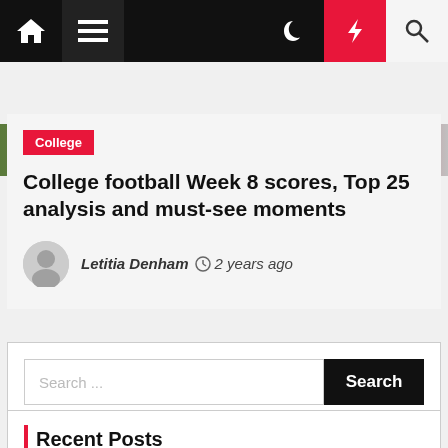[Figure (screenshot): Top navigation bar with home icon, hamburger menu, moon icon, red lightning bolt, and search icon on dark background]
[Figure (photo): Partial hero image strip showing green field, blurred figures, red, and grey tones]
College
College football Week 8 scores, Top 25 analysis and must-see moments
Letitia Denham  2 years ago
Search ...
Recent Posts